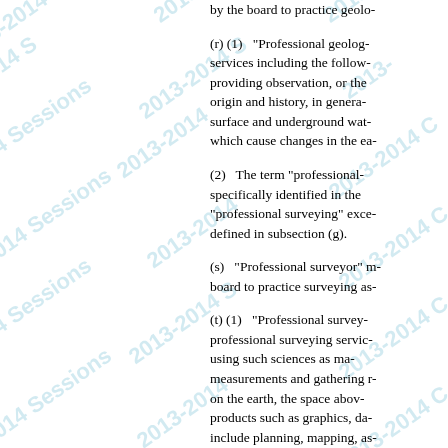by the board to practice geolo-
(r) (1)   "Professional geolog- services including the follow- providing observation, or the origin and history, in genera- surface and underground wat- which cause changes in the ea-
(2)   The term "professional- specifically identified in the "professional surveying" exce- defined in subsection (g).
(s)   "Professional surveyor" m- board to practice surveying as-
(t) (1)   "Professional survey- professional surveying servic- using such sciences as ma- measurements and gathering r- on the earth, the space abov- products such as graphics, da- include planning, mapping, as-